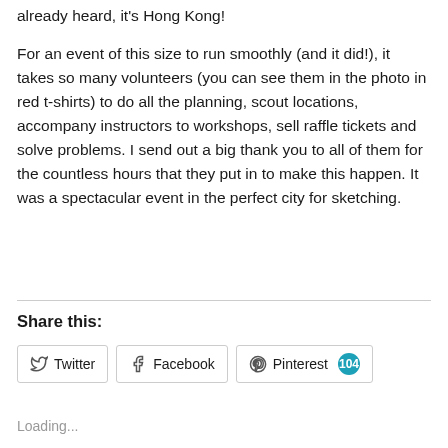already heard, it's Hong Kong!
For an event of this size to run smoothly (and it did!), it takes so many volunteers (you can see them in the photo in red t-shirts) to do all the planning, scout locations, accompany instructors to workshops, sell raffle tickets and solve problems. I send out a big thank you to all of them for the countless hours that they put in to make this happen. It was a spectacular event in the perfect city for sketching.
Share this:
Loading...